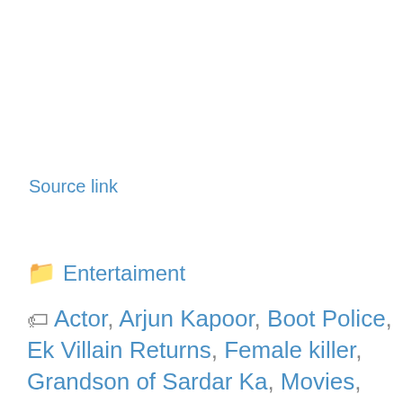Source link
📁 Entertaiment
🏷 Actor, Arjun Kapoor, Boot Police, Ek Villain Returns, Female killer, Grandson of Sardar Ka, Movies, ott, Panipat, Sandeep Aur Pinky Farrar, Vishal Parvaj,